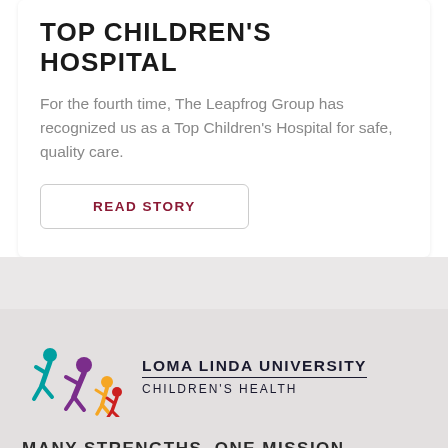TOP CHILDREN'S HOSPITAL
For the fourth time, The Leapfrog Group has recognized us as a Top Children's Hospital for safe, quality care.
READ STORY
[Figure (logo): Loma Linda University Children's Health logo with stylized figures in teal, red, purple and yellow]
MANY STRENGTHS. ONE MISSION.